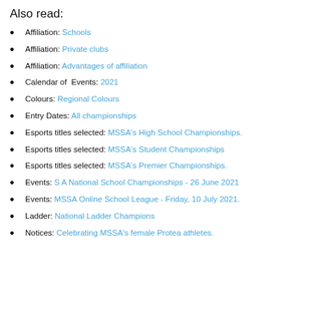Also read:
Affiliation: Schools
Affiliation: Private clubs
Affiliation: Advantages of affiliation
Calendar of Events: 2021
Colours: Regional Colours
Entry Dates: All championships
Esports titles selected: MSSA's High School Championships.
Esports titles selected: MSSA's Student Championships
Esports titles selected: MSSA's Premier Championships.
Events: S A National School Championships - 26 June 2021
Events: MSSA Online School League - Friday, 10 July 2021.
Ladder: National Ladder Champions
Notices: Celebrating MSSA's female Protea athletes.